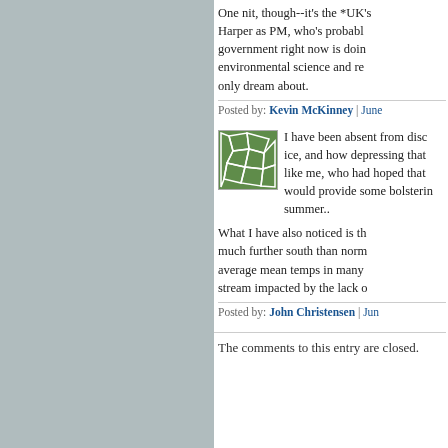One nit, though--it's the *UK's* Harper as PM, who's probably what government right now is doing for environmental science and re... only dream about.
Posted by: Kevin McKinney | June
[Figure (illustration): Green avatar with geometric mosaic/polygon pattern]
I have been absent from disc... ice, and how depressing that... like me, who had hoped that... would provide some bolsterin... summer..
What I have also noticed is th... much further south than norm... average mean temps in many... stream impacted by the lack o...
Posted by: John Christensen | Jun
The comments to this entry are closed.